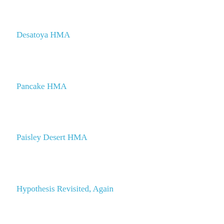Desatoya HMA
Pancake HMA
Paisley Desert HMA
Hypothesis Revisited, Again
Lost Creek HMA
Stewart Creek HMA
Frisco HMA
South Steens HMA
Diamond Complex
Sulphur HMA